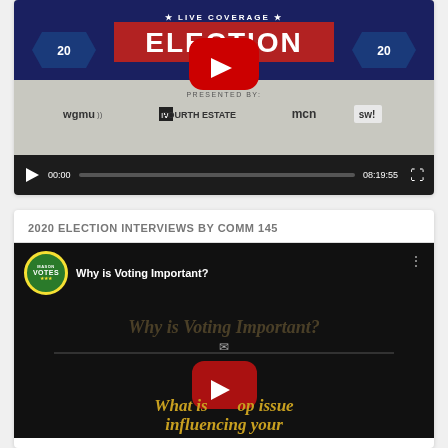[Figure (screenshot): YouTube video player showing a 2020 Election Live Coverage video with WGMU, Fourth Estate, MCN logos. Controls show 00:00 / 08:19:55.]
2020 ELECTION INTERVIEWS BY COMM 145
[Figure (screenshot): YouTube video thumbnail showing Mason Votes badge, title 'Why is Voting Important?' and text 'What is top issue influencing your vote in 2020?']